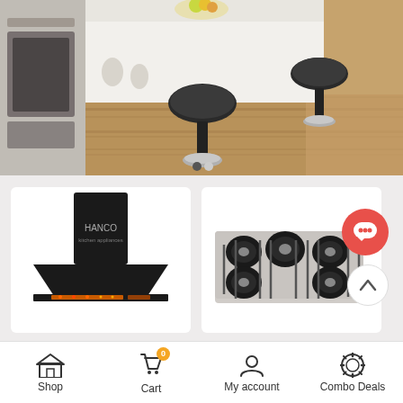[Figure (photo): Kitchen scene showing a white island counter with modern black bar stools on wooden floor, with stainless steel appliances on the left]
[Figure (photo): Hanco brand black kitchen range hood / chimney extractor fan product image]
[Figure (photo): Stainless steel 5-burner gas hob / cooktop product image]
Shop
Cart
My account
Combo Deals